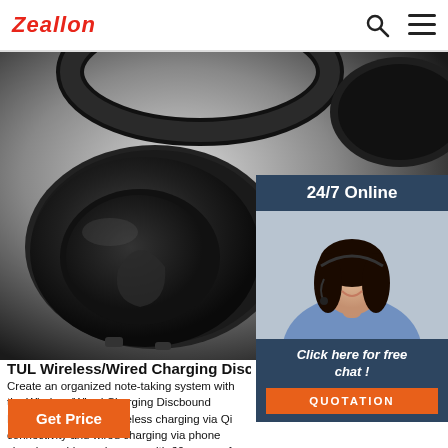Zeallon
[Figure (photo): Close-up photo of black over-ear headphones with oval ear cups, showing the cushioned ear pad and plastic housing against a gradient grey-black background.]
[Figure (photo): 24/7 Online chat support: smiling woman with headset, customer service representative.]
TUL Wireless/Wired Charging Discbound No
Create an organized note-taking system with the Wireless/Wired Charging Discbound Notebook. Th offers wireless charging via Qi connectivity and wired charging via phone charging cable, and comes with 60 pages of narrow-ruled paper to let you write down notes. Leather cover is durable and stylish. Comes with 60 narrow-ruled sheets.
Click here for free chat !
QUOTATION
Get Price